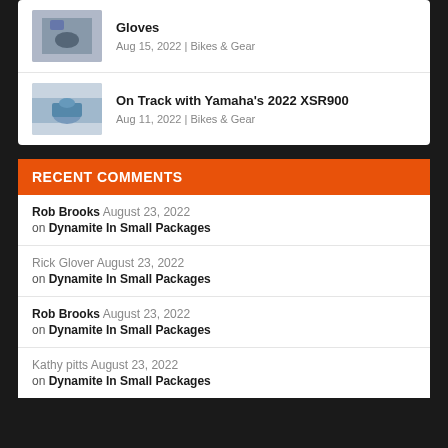Gloves Aug 15, 2022 | Bikes & Gear
On Track with Yamaha's 2022 XSR900 Aug 11, 2022 | Bikes & Gear
RECENT COMMENTS
Rob Brooks August 23, 2022 on Dynamite In Small Packages
Rick Glover August 23, 2022 on Dynamite In Small Packages
Rob Brooks August 23, 2022 on Dynamite In Small Packages
Kathy pitts August 23, 2022 on Dynamite In Small Packages